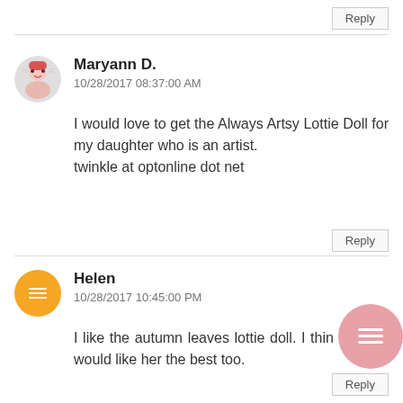Reply
Maryann D.
10/28/2017 08:37:00 AM
I would love to get the Always Artsy Lottie Doll for my daughter who is an artist. twinkle at optonline dot net
Reply
Helen
10/28/2017 10:45:00 PM
I like the autumn leaves lottie doll. I think my little girl would like her the best too.
Reply